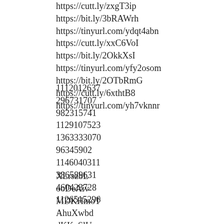https://cutt.ly/zxgT3ip
https://bit.ly/3bRAWrh
https://tinyurl.com/ydqt4abn
https://cutt.ly/xxC6VoI
https://bit.ly/2OkkXsI
https://tinyurl.com/yfy2osom
https://bit.ly/2OTbRmG
https://cutt.ly/6xthtB8
https://tinyurl.com/yh7vknnr
1112012637
296731707
982315741
1129107523
1363333070
96345902
1146040311
386589631
460423728
1126515296
XLrszbL
ooDeAiv
MDKHmoT
AhuXwbd
dKK_SlU